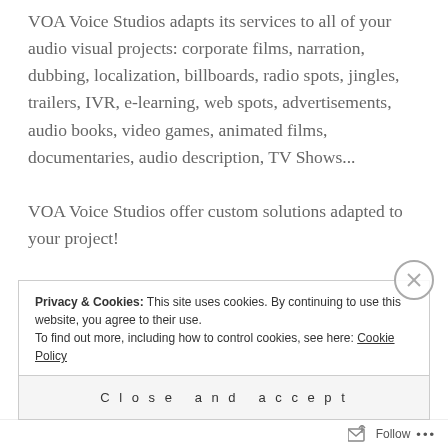VOA Voice Studios adapts its services to all of your audio visual projects: corporate films, narration, dubbing, localization, billboards, radio spots, jingles, trailers, IVR, e-learning, web spots, advertisements, audio books, video games, animated films, documentaries, audio description, TV Shows... VOA Voice Studios offer custom solutions adapted to your project!
Privacy & Cookies: This site uses cookies. By continuing to use this website, you agree to their use. To find out more, including how to control cookies, see here: Cookie Policy
Close and accept
Follow ...